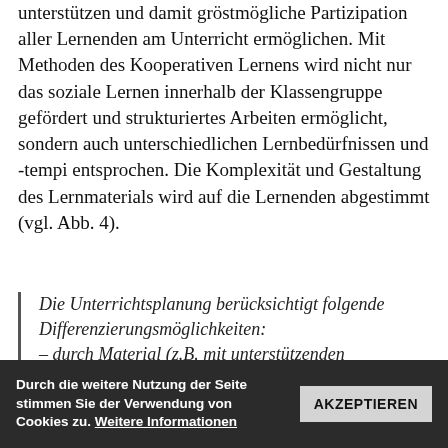unterstützen und damit gröstmögliche Partizipation aller Lernenden am Unterricht ermöglichen. Mit Methoden des Kooperativen Lernens wird nicht nur das soziale Lernen innerhalb der Klassengruppe gefördert und strukturiertes Arbeiten ermöglicht, sondern auch unterschiedlichen Lernbedürfnissen und -tempi entsprochen. Die Komplexität und Gestaltung des Lernmaterials wird auf die Lernenden abgestimmt (vgl. Abb. 4).
Die Unterrichtsplanung berücksichtigt folgende Differenzierungsmöglichkeiten: – durch Material (z.B. mit unterstützenden Visualisierungen, Einsatz digitaler Medien wie Internet und
– nach Arbeitsstruktur (z.B. ritualisierter
Durch die weitere Nutzung der Seite stimmen Sie der Verwendung von Cookies zu. Weitere Informationen